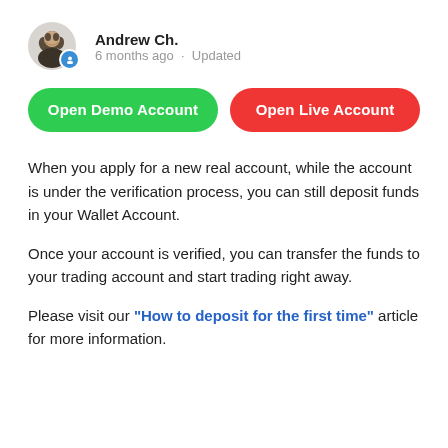[Figure (photo): Avatar photo of Andrew Ch. with a blue badge icon overlay]
Andrew Ch.
6 months ago · Updated
[Figure (other): Green button: Open Demo Account]
[Figure (other): Red button: Open Live Account]
When you apply for a new real account, while the account is under the verification process, you can still deposit funds in your Wallet Account.
Once your account is verified, you can transfer the funds to your trading account and start trading right away.
Please visit our "How to deposit for the first time" article for more information.